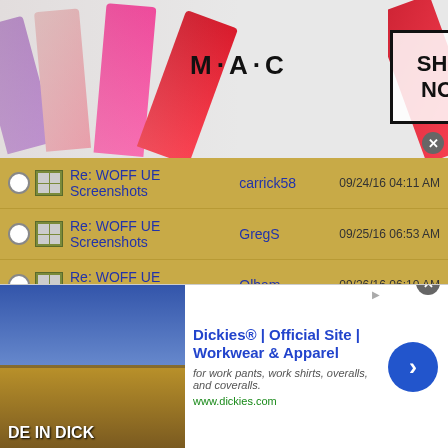[Figure (screenshot): MAC cosmetics banner ad with lipsticks on left, MAC logo in center, SHOP NOW button in bordered box on right, colorful lipsticks visible]
|  | Subject | Author | Date |
| --- | --- | --- | --- |
| ○ [icon] | Re: WOFF UE Screenshots | carrick58 | 09/24/16 04:11 AM |
| ○ [icon] | Re: WOFF UE Screenshots | GregS | 09/25/16 06:53 AM |
| ○ [icon] | Re: WOFF UE Screenshots | Olham | 09/26/16 06:10 AM |
| ○ [icon] | Re: WOFF UE Screenshots | Olham | 09/26/16 06:15 AM |
| ○ [icon] | Re: WOFF UE Screenshots | JimBobb | 09/26/16 07:52 AM |
| ○ | Re: WOFF UE Screenshots | Hellshade | 09/26/16 04:06 PM |
| ○ | Re: WOFF UE Screenshots | Robert_Wiggins | 09/26/16 06:39 PM |
| ○ | Re: WOFF UE Screenshots | ricnunes | 09/27/16 10:02 AM |
[Figure (screenshot): Dickies advertisement banner: image of person in desert on left with text 'DE IN DICK', ad text 'Dickies® | Official Site | Workwear & Apparel', subtext 'for work pants, work shirts, overalls, and coveralls.', URL www.dickies.com, blue circular arrow button on right]